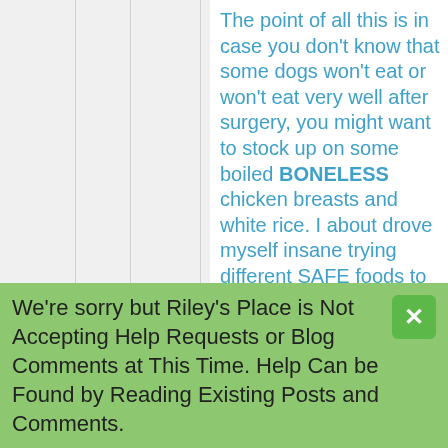The point of all this is in case you don't know that some dogs won't eat or won't eat very well after surgery, you might want to stock up on some boiled BONELESS chicken breasts and white rice. I about drove myself insane trying different SAFE foods to get him to eat anything and he wasn't having anything to do with it. But he will sometimes eat the chicken and rice combo, chicken is his favorite. The boiled chicken and
We're sorry but Riley's Place is Not Accepting Help Requests or Blog Comments at This Time. Help Can be Found by Reading Existing Posts and Comments.